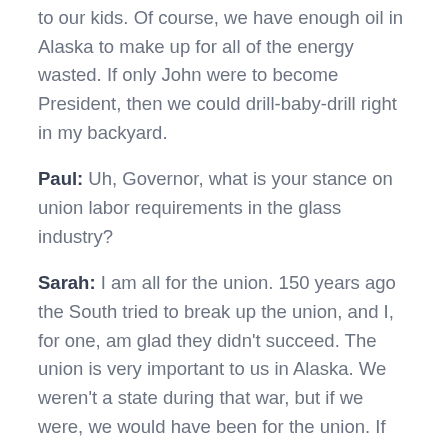to our kids. Of course, we have enough oil in Alaska to make up for all of the energy wasted. If only John were to become President, then we could drill-baby-drill right in my backyard.
Paul: Uh, Governor, what is your stance on union labor requirements in the glass industry?
Sarah: I am all for the union. 150 years ago the South tried to break up the union, and I, for one, am glad they didn't succeed. The union is very important to us in Alaska. We weren't a state during that war, but if we were, we would have been for the union. If there is